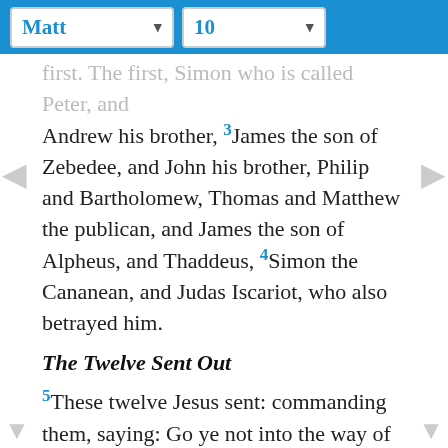Matt 10
first. The first, Simon who is called Peter, and Andrew his brother, 3 James the son of Zebedee, and John his brother, Philip and Bartholomew, Thomas and Matthew the publican, and James the son of Alpheus, and Thaddeus, 4 Simon the Cananean, and Judas Iscariot, who also betrayed him.
The Twelve Sent Out
5 These twelve Jesus sent: commanding them, saying: Go ye not into the way of the Gentiles, and into the city of the Samaritans enter ye not. 6 But go ye rather to the lost sheep of the house of Israel. 7 And going, preach, saying: The kingdom of heaven is at hand. 8 Heal the sick, raise the dead, cleanse the lepers, cast out